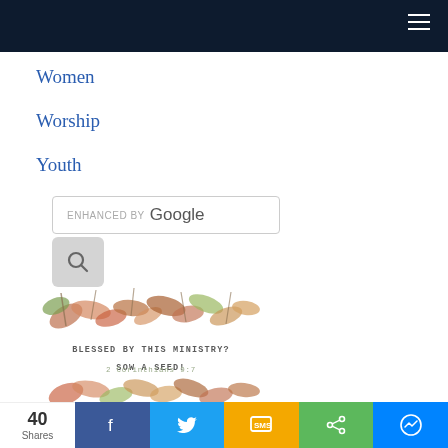Women
Worship
Youth
[Figure (screenshot): Google enhanced search box with search button below]
[Figure (illustration): Watercolor autumn leaves decoration]
BLESSED BY THIS MINISTRY? SOW A SEED!
2 Corinthians 9:7
[Figure (illustration): Watercolor autumn leaves decoration (partial)]
40 Shares | Facebook | Twitter | SMS | Share | Messenger